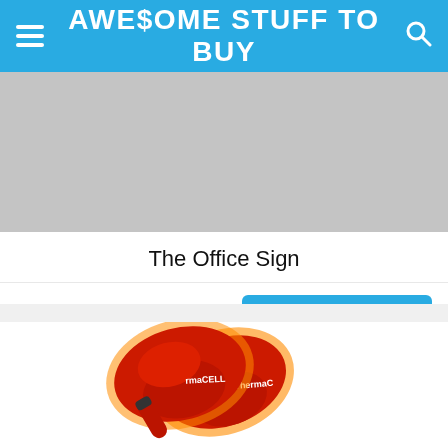AWE$OME STUFF TO BUY
[Figure (photo): Gray textured background image (top of product listing)]
The Office Sign
$5.29
VIEW ON AMAZON >
[Figure (photo): Two red heated shoe insoles with orange glow effect and a red remote control with wireless signal lines. ThermaCell branding visible on insoles.]